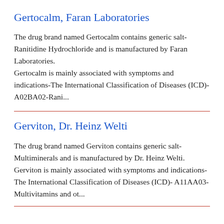Gertocalm, Faran Laboratories
The drug brand named Gertocalm contains generic salt- Ranitidine Hydrochloride and is manufactured by Faran Laboratories.
Gertocalm is mainly associated with symptoms and indications-The International Classification of Diseases (ICD)- A02BA02-Rani...
Gerviton, Dr. Heinz Welti
The drug brand named Gerviton contains generic salt- Multiminerals and is manufactured by Dr. Heinz Welti.
Gerviton is mainly associated with symptoms and indications- The International Classification of Diseases (ICD)- A11AA03- Multivitamins and ot...